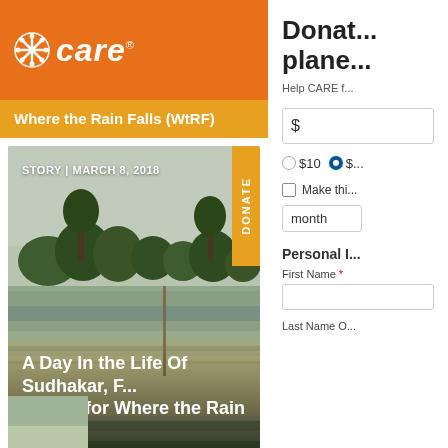[Figure (logo): CARE organization logo - white snowflake icon and white italic CARE text on orange background]
Where the Rain Falls (WtRF)
[Figure (photo): Flooded agricultural field with trees in background, overcast sky. Story card with headline 'A Day In the Life Of Sudhakar, F... Officer for Where the Rain Falls' and metadata 'STORY | MARCH 8, 2018']
Donat... plane...
Help CARE f...
$
$10
Make thi...
month
Personal I...
First Name *
Last Name O...